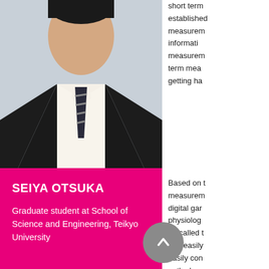[Figure (photo): Professional headshot of Seiya Otsuka wearing a dark suit and striped tie against a light background]
SEIYA OTSUKA
Graduate student at School of Science and Engineering, Teikyo University
short term established measurement information measurement term mea getting ha
Based on measurement digital gar physiolog so-called and easily easily con outlook as managem